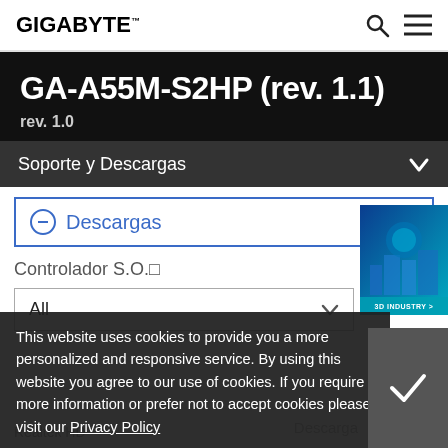GIGABYTE™
GA-A55M-S2HP (rev. 1.1)
rev. 1.0
Soporte y Descargas
Descargas
Controlador S.O.
All
[Figure (screenshot): 3D Industry advertisement image with a city/factory 3D render and '3D INDUSTRY >' text]
This website uses cookies to provide you a more personalized and responsive service. By using this website you agree to our use of cookies. If you require more information or prefer not to accept cookies please visit our Privacy Policy
Realtek HD